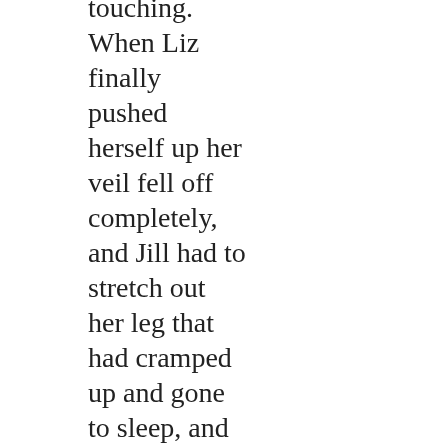touching. When Liz finally pushed herself up her veil fell off completely, and Jill had to stretch out her leg that had cramped up and gone to sleep, and another tired little spate of giggles